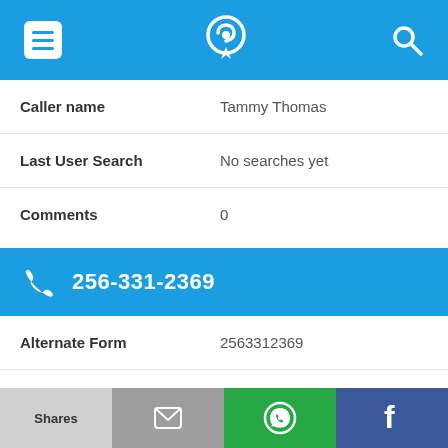[Figure (screenshot): App top navigation bar with menu icon, phone/location logo, and search icon on blue background]
| Caller name | Tammy Thomas |
| Last User Search | No searches yet |
| Comments | 0 |
256-331-2369
| Alternate Form | 2563312369 |
| Caller name | Price McDonald |
| Last User Search | No searches yet |
[Figure (screenshot): Bottom share bar with Shares, email, WhatsApp, and Facebook buttons]